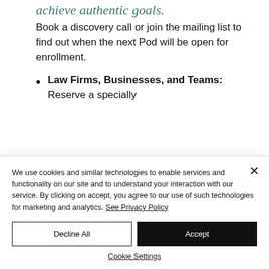achieve authentic goals.
Book a discovery call or join the mailing list to find out when the next Pod will be open for enrollment.
Law Firms, Businesses, and Teams: Reserve a specially
We use cookies and similar technologies to enable services and functionality on our site and to understand your interaction with our service. By clicking on accept, you agree to our use of such technologies for marketing and analytics. See Privacy Policy
Decline All
Accept
Cookie Settings